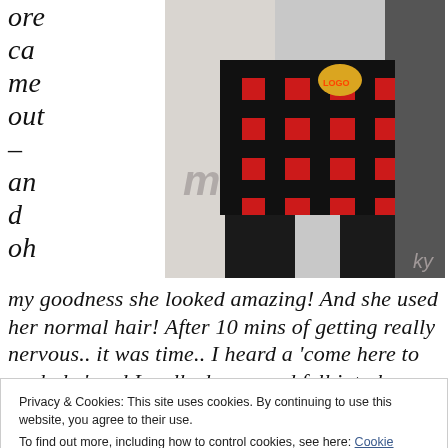ore ca me out – an d oh
[Figure (photo): Person wearing red and black plaid/buffalo check pants with a logo patch, standing in front of a backdrop with partial text visible]
my goodness she looked amazing! And she used her normal hair! After 10 mins of getting really nervous.. it was time.. I heard a 'come here to me babe' and I walked over and fell into her open
Privacy & Cookies: This site uses cookies. By continuing to use this website, you agree to their use.
To find out more, including how to control cookies, see here: Cookie Policy
'I'm Louie from DXP' and she was like 'OMG I